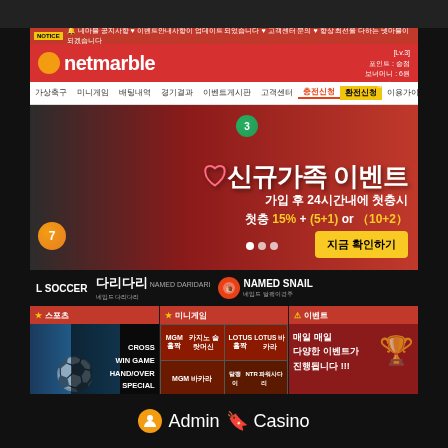[Figure (screenshot): Screenshot of Netmarble Korean online gaming/casino website displayed on a tablet device. The page shows a red-themed website with the Netmarble logo, Korean navigation menu, a promotional banner for a new member event (신규가족 이벤트) offering 15% + (5+1) or (10+2) bonuses, game categories including soccer, NAMED DARIDARI, NAMED SNAIL, mini games and events sections. Bottom shows MGM and LOTUS casino game icons.]
Admin Casino